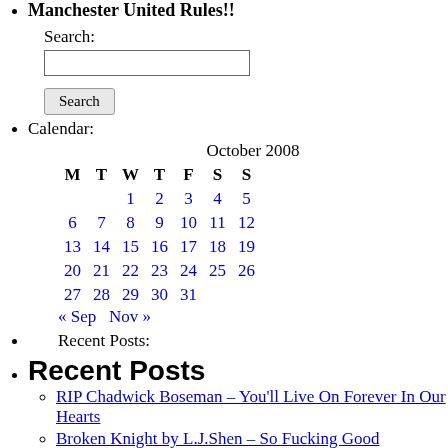Manchester United Rules!!
Search:
[search input box]
Search [button]
Calendar:
| M | T | W | T | F | S | S |
| --- | --- | --- | --- | --- | --- | --- |
|  |  | 1 | 2 | 3 | 4 | 5 |
| 6 | 7 | 8 | 9 | 10 | 11 | 12 |
| 13 | 14 | 15 | 16 | 17 | 18 | 19 |
| 20 | 21 | 22 | 23 | 24 | 25 | 26 |
| 27 | 28 | 29 | 30 | 31 |  |  |
« Sep   Nov »
Recent Posts:
Recent Posts
RIP Chadwick Boseman – You'll Live On Forever In Our Hearts
Broken Knight by L.J.Shen – So Fucking Good